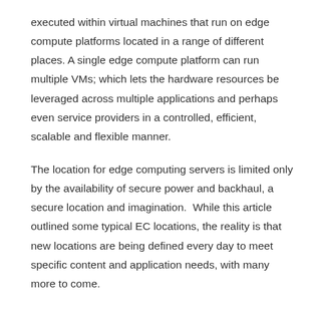executed within virtual machines that run on edge compute platforms located in a range of different places. A single edge compute platform can run multiple VMs; which lets the hardware resources be leveraged across multiple applications and perhaps even service providers in a controlled, efficient, scalable and flexible manner.
The location for edge computing servers is limited only by the availability of secure power and backhaul, a secure location and imagination.  While this article outlined some typical EC locations, the reality is that new locations are being defined every day to meet specific content and application needs, with many more to come.